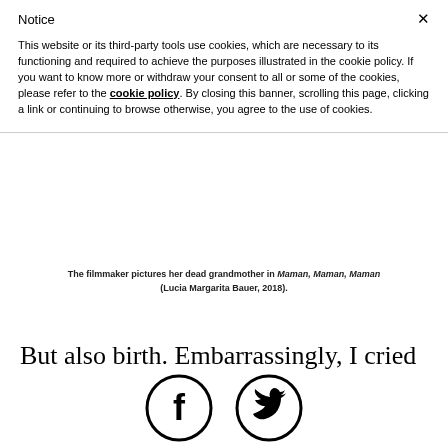Notice
This website or its third-party tools use cookies, which are necessary to its functioning and required to achieve the purposes illustrated in the cookie policy. If you want to know more or withdraw your consent to all or some of the cookies, please refer to the cookie policy. By closing this banner, scrolling this page, clicking a link or continuing to browse otherwise, you agree to the use of cookies.
The filmmaker pictures her dead grandmother in Maman, Maman, Maman (Lucia Margarita Bauer, 2018).
But also birth. Embarrassingly, I cried through most of Els dies que viendran (Carlos Marqués-Marcet, 2018). Didn't take a single note. I don't have to…
[Figure (other): Facebook and Twitter social media icon circles]